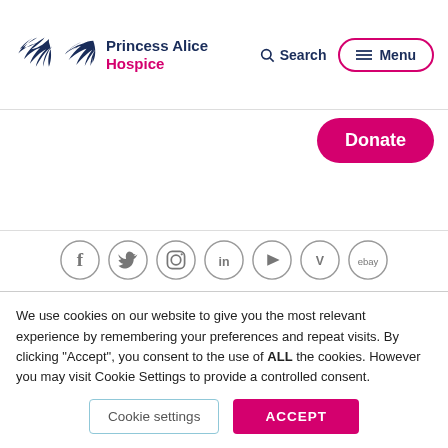Princess Alice Hospice — Search — Menu
Donate
[Figure (illustration): Row of social media icons: Facebook, Twitter, Instagram, LinkedIn, YouTube, Vimeo, eBay]
Princess Alice Hospice, West End Lane, Esher, KT10 8NA
Princess Alice Hospice is a registered charity no.1010930 and a
We use cookies on our website to give you the most relevant experience by remembering your preferences and repeat visits. By clicking "Accept", you consent to the use of ALL the cookies. However you may visit Cookie Settings to provide a controlled consent.
Cookie settings  ACCEPT